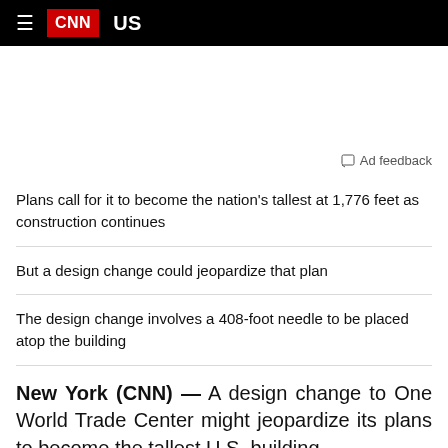CNN US
Plans call for it to become the nation's tallest at 1,776 feet as construction continues
But a design change could jeopardize that plan
The design change involves a 408-foot needle to be placed atop the building
New York (CNN) — A design change to One World Trade Center might jeopardize its plans to become the tallest U.S. building.